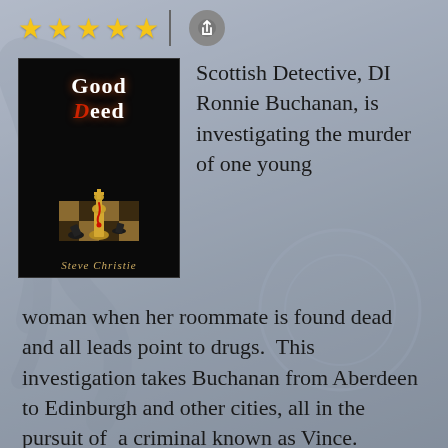[Figure (other): Five gold star rating icons followed by a vertical divider and a share/bookmark button]
[Figure (photo): Book cover for 'Good Deed' by Steve Christie — dark background with chess pieces, title in white and red lettering, author name in gold italic script at bottom]
Scottish Detective, DI Ronnie Buchanan, is investigating the murder of one young woman when her roommate is found dead and all leads point to drugs.  This investigation takes Buchanan from Aberdeen to Edinburgh and other cities, all in the pursuit of  a criminal known as Vince. Buchanan may be a seasoned investigator, but